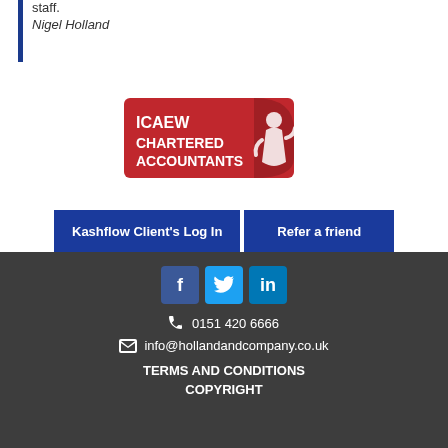staff.
Nigel Holland
[Figure (logo): ICAEW Chartered Accountants logo — red badge with white figure and text]
Kashflow Client's Log In
Refer a friend
[Figure (other): Social media icons: Facebook, Twitter, LinkedIn]
0151 420 6666
info@hollandandcompany.co.uk
TERMS AND CONDITIONS
COPYRIGHT